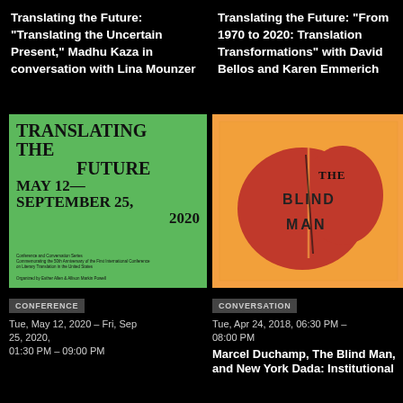Translating the Future: "Translating the Uncertain Present," Madhu Kaza in conversation with Lina Mounzer
Translating the Future: "From 1970 to 2020: Translation Transformations" with David Bellos and Karen Emmerich
[Figure (photo): Green poster for Translating the Future conference, May 12 – September 25, 2020]
CONFERENCE
Tue, May 12, 2020 – Fri, Sep 25, 2020, 01:30 PM – 09:00 PM
[Figure (photo): Orange cover of The Blind Man journal with red hand-lettered text]
CONVERSATION
Tue, Apr 24, 2018, 06:30 PM – 08:00 PM
Marcel Duchamp, The Blind Man, and New York Dada: Institutional